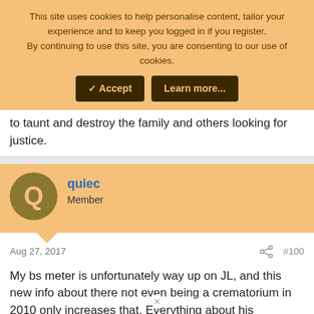This site uses cookies to help personalise content, tailor your experience and to keep you logged in if you register.
By continuing to use this site, you are consenting to our use of cookies.
[Accept] [Learn more...]
to taunt and destroy the family and others looking for justice.
quiec
Member
Aug 27, 2017  #100
My bs meter is unfortunately way up on JL, and this new info about there not even being a crematorium in 2010 only increases that. Everything about his demeanor is telling me he's spinning a huge yarn. While I think most of this story is way off, I